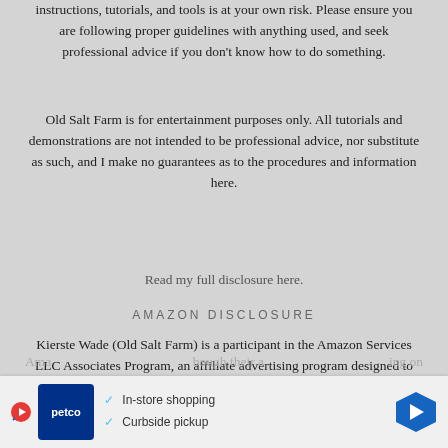instructions, tutorials, and tools is at your own risk. Please ensure you are following proper guidelines with anything used, and seek professional advice if you don't know how to do something.
Old Salt Farm is for entertainment purposes only. All tutorials and demonstrations are not intended to be professional advice, nor substitute as such, and I make no guarantees as to the procedures and information here.
Read my full disclosure here.
AMAZON DISCLOSURE
Kierste Wade (Old Salt Farm) is a participant in the Amazon Services LLC Associates Program, an affiliate advertising program designed to provide a means for sites to earn advertising fees by advertising and linking to amazon.com.
Ama... bough their a... ing on
[Figure (other): Petco advertisement banner with logo, play button icon, checkmarks for In-store shopping and Curbside pickup, and navigation arrow icon]